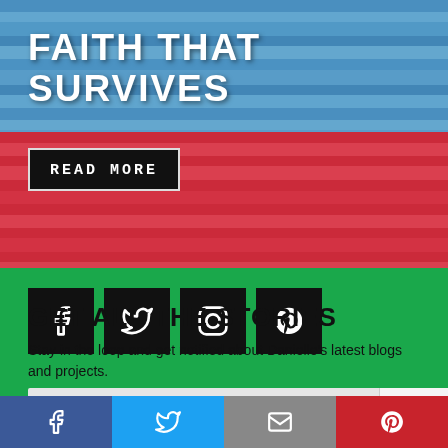[Figure (photo): Hero image with colorful stacked books/pages background — blue and red striped bands with white text overlay showing 'FAITH THAT SURVIVES' and a 'READ MORE' button]
FAITH THAT SURVIVES
READ MORE
[Figure (infographic): Four black social media icon boxes: Facebook (f), Twitter (bird), Instagram (camera), Pinterest (p)]
GET ALL THE STORIES
Stay in the loop and get notified about Danielle's latest blogs and projects.
First Name
[Figure (infographic): Bottom social sharing bar with four colored sections: Facebook (blue), Twitter (light blue), Email/envelope (gray), Pinterest (red)]